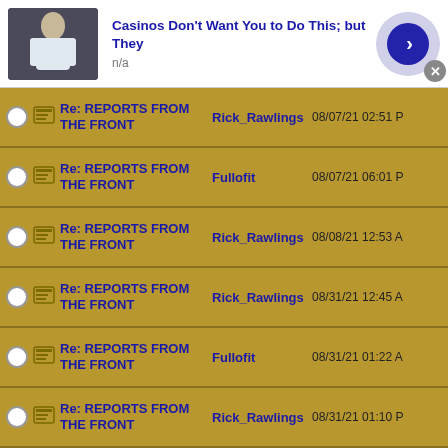[Figure (screenshot): Ad banner top: thumbnail image of person, title 'Casinos Don't Want You to Do This; but They', subtext 'n/a', arrow button, close button]
| Subject | Author | Date |
| --- | --- | --- |
| Re: REPORTS FROM THE FRONT | Rick_Rawlings | 08/07/21 02:51 PM |
| Re: REPORTS FROM THE FRONT | Fullofit | 08/07/21 06:01 PM |
| Re: REPORTS FROM THE FRONT | Rick_Rawlings | 08/08/21 12:53 AM |
| Re: REPORTS FROM THE FRONT | Rick_Rawlings | 08/31/21 12:45 AM |
| Re: REPORTS FROM THE FRONT | Fullofit | 08/31/21 01:22 AM |
| Re: REPORTS FROM THE FRONT | Rick_Rawlings | 08/31/21 01:10 PM |
[Figure (screenshot): Ad banner bottom: thumbnail image of person, title 'Casinos Don't Want You to Do This; but They', subtext 'n/a', arrow button, close button]